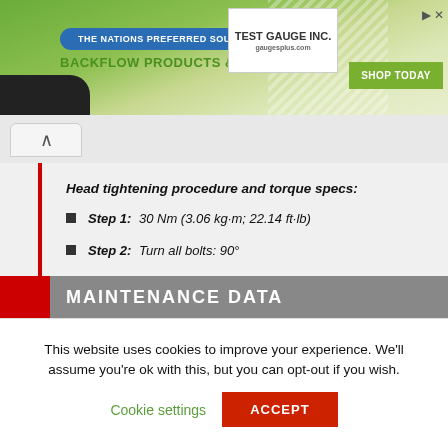THE NATIONS PREFERRED SOURCE FOR BACKFLOW PRODUCTS & SERVICES | TEST GAUGE INC. | SHOP TODAY
Head tightening procedure and torque specs:
Step 1: 30 Nm (3.06 kg·m; 22.14 ft·lb)
Step 2: Turn all bolts: 90°
Step 3: Turn all bolts excluding the medium length bolts at the front and rear of each head: 90°
Step 4: Turn all medium length bolts at the front and rear of each head: 50deg;
MAINTENANCE DATA
This website uses cookies to improve your experience. We'll assume you're ok with this, but you can opt-out if you wish. Cookie settings ACCEPT